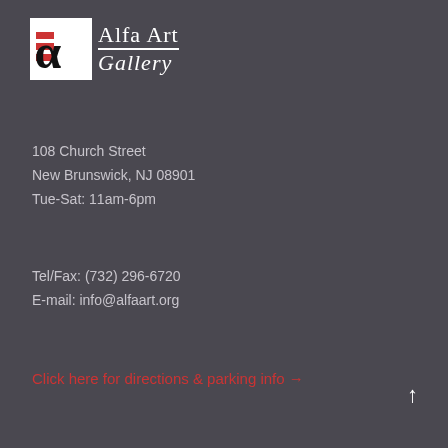[Figure (logo): Alfa Art Gallery logo with stylized alpha symbol in black and white with red horizontal bars, and text 'Alfa Art Gallery' in serif font]
108 Church Street
New Brunswick, NJ 08901
Tue-Sat: 11am-6pm
Tel/Fax: (732) 296-6720
E-mail: info@alfaart.org
Click here for directions & parking info →